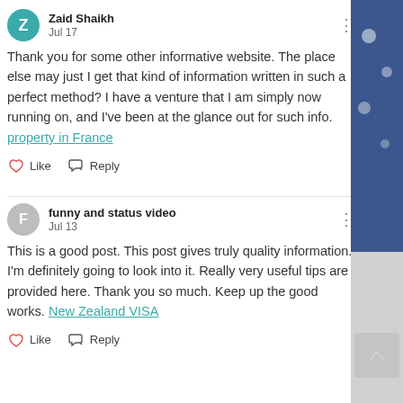Zaid Shaikh
Jul 17
Thank you for some other informative website. The place else may just I get that kind of information written in such a perfect method? I have a venture that I am simply now running on, and I've been at the glance out for such info. property in France
Like  Reply
funny and status video
Jul 13
This is a good post. This post gives truly quality information. I'm definitely going to look into it. Really very useful tips are provided here. Thank you so much. Keep up the good works. New Zealand VISA
Like  Reply